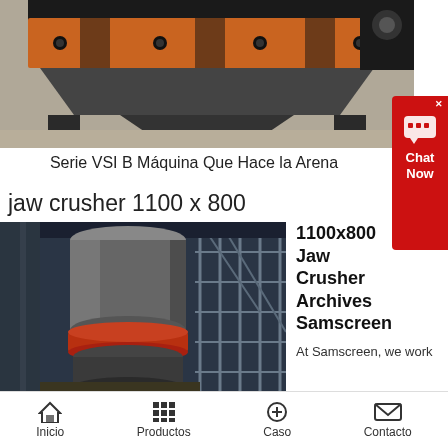[Figure (photo): Industrial VSI B sand-making machine with orange beam, gray metal frame and legs, photographed in a factory setting]
Serie VSI B Máquina Que Hace la Arena
jaw crusher 1100 x 800
[Figure (photo): Industrial jaw crusher / cone crusher machine in a factory setting with scaffolding in background, red accent ring visible]
1100x800 Jaw Crusher Archives Samscreen
At Samscreen, we work
Inicio  Productos  Caso  Contacto